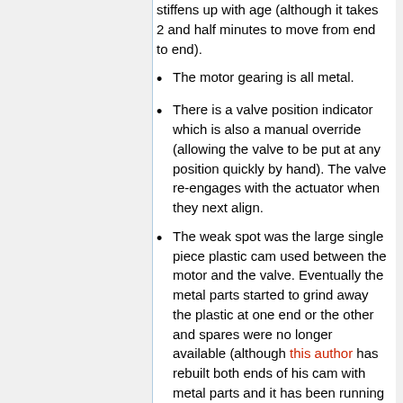stiffens up with age (although it takes 2 and half minutes to move from end to end).
The motor gearing is all metal.
There is a valve position indicator which is also a manual override (allowing the valve to be put at any position quickly by hand). The valve re-engages with the actuator when they next align.
The weak spot was the large single piece plastic cam used between the motor and the valve. Eventually the metal parts started to grind away the plastic at one end or the other and spares were no longer available (although this author has rebuilt both ends of his cam with metal parts and it has been running now since 1978).
The usual MOMO advantages of only